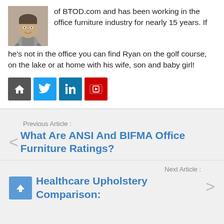[Figure (photo): Headshot of a man smiling, wearing a grey jacket, office background]
of BTOD.com and has been working in the office furniture industry for nearly 15 years. If he's not in the office you can find Ryan on the golf course, on the lake or at home with his wife, son and baby girl!
[Figure (infographic): Row of four social media icon buttons: home (dark grey), Twitter (blue), LinkedIn (blue), YouTube (red)]
Previous Article :
What Are ANSI And BIFMA Office Furniture Ratings?
Next Article :
Healthcare Upholstery Comparison: